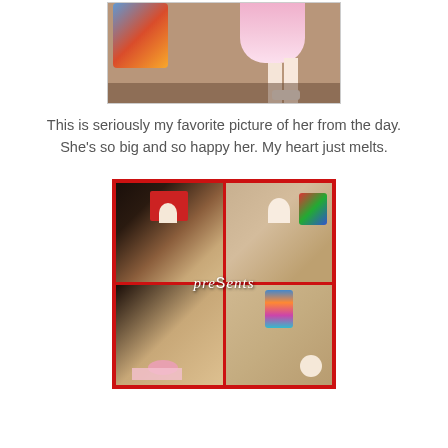[Figure (photo): Partial view of a baby in a pink dress standing on carpet, with colorful toys visible, cropped at top showing only lower body and feet]
This is seriously my favorite picture of her from the day. She's so big and so happy her. My heart just melts.
[Figure (photo): 4-photo collage with red border showing a baby girl opening birthday presents. Top left: baby with pink bow sitting near red gift box. Top right: baby smiling next to colorful toy. Bottom left: baby unwrapping presents on floor. Bottom right: baby exploring a striped gift bag. White text overlay reads 'preSents' across the middle.]